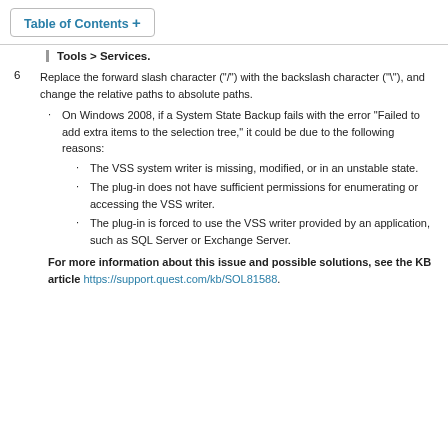Table of Contents +
Tools > Services.
6  Replace the forward slash character ("/") with the backslash character ("\"), and change the relative paths to absolute paths.
On Windows 2008, if a System State Backup fails with the error “Failed to add extra items to the selection tree,” it could be due to the following reasons:
The VSS system writer is missing, modified, or in an unstable state.
The plug-in does not have sufficient permissions for enumerating or accessing the VSS writer.
The plug-in is forced to use the VSS writer provided by an application, such as SQL Server or Exchange Server.
For more information about this issue and possible solutions, see the KB article https://support.quest.com/kb/SOL81588.